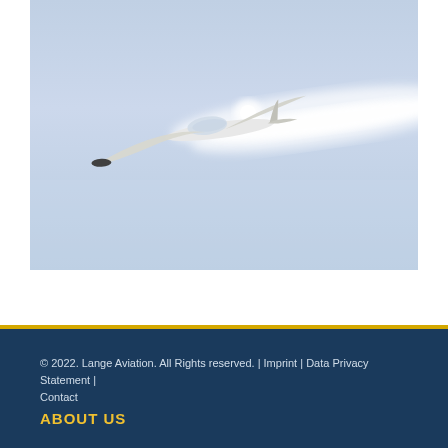[Figure (photo): A white electric glider or motorized sailplane flying through a light blue sky, leaving a white vapor/contrail trail behind it as it climbs at an angle.]
© 2022. Lange Aviation. All Rights reserved. | Imprint | Data Privacy Statement | Contact
ABOUT US